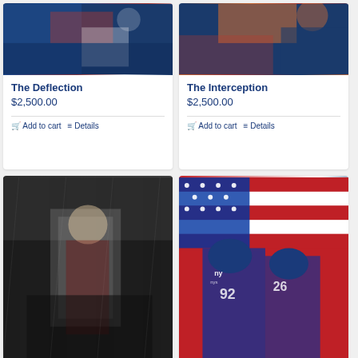[Figure (illustration): Sports painting of a football player deflecting a ball, blue and red tones]
The Deflection
$2,500.00
Add to cart
Details
[Figure (illustration): Sports painting of a football interception play, blue and orange tones]
The Interception
$2,500.00
Add to cart
Details
[Figure (illustration): Sports painting of a Redskins quarterback throwing a pass, dark background with rain effects]
[Figure (illustration): Sports painting of NY Giants players in defensive stance against American flag background]